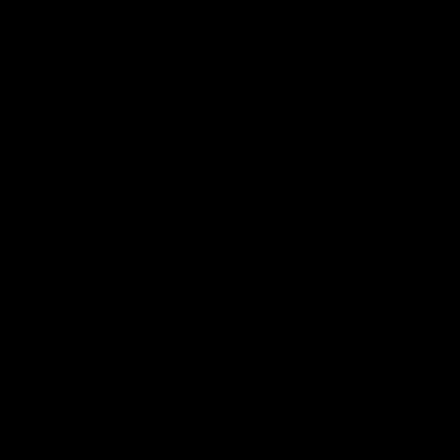deemed unnecessary for the day unhid to drive into town in one d
My grandfather had no ide
"Do you worry we're goin onto the street; I'd never been to memories among others. I fidge
"Among other concerns," be much of an improvement in t hand if he does come down with her head at my father, in the pas
"You suppose he'll be hon forty-eight." After a pause, it occ before they were forty-five. And
"I rule the world and I am although there was a hint of laug were born when you were instea
"No," I said. "I'm not ever candidate, but it wasn't like that Quil's imprint Claire had, to con figure things out later if and wh